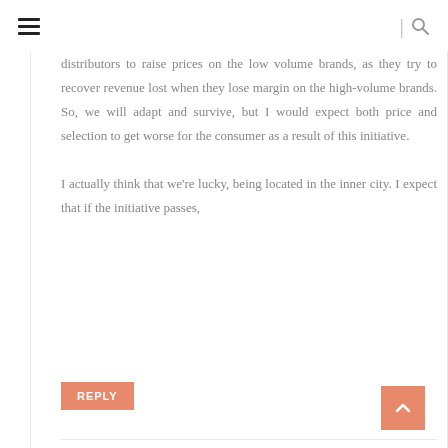≡ | 🔍
distributors to raise prices on the low volume brands, as they try to recover revenue lost when they lose margin on the high-volume brands. So, we will adapt and survive, but I would expect both price and selection to get worse for the consumer as a result of this initiative.

I actually think that we're lucky, being located in the inner city. I expect that if the initiative passes,
REPLY